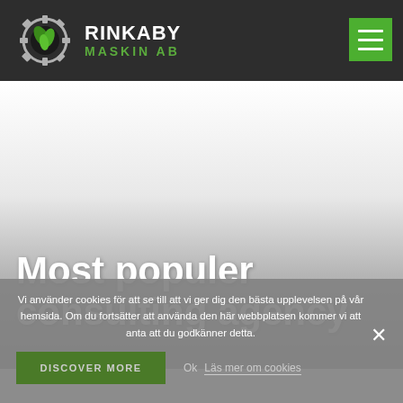[Figure (logo): Rinkaby Maskin AB logo — gear icon with green leaves, white text RINKABY, green text MASKIN AB]
Most populer consulting agency
Vi använder cookies för att se till att vi ger dig den bästa upplevelsen på vår hemsida. Om du fortsätter att använda den här webbplatsen kommer vi att anta att du godkänner detta.
DISCOVER MORE  Ok  Läs mer om cookies